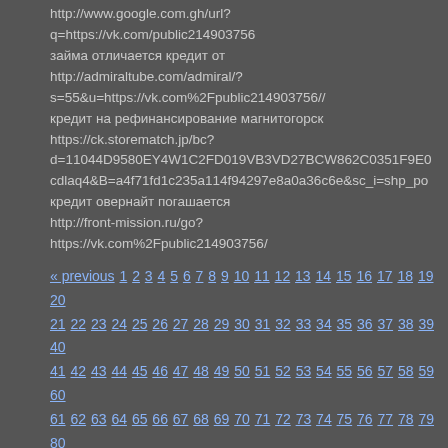http://www.google.com.gh/url?q=https://vk.com/public214903756
займа отличается кредит от
http://admiraltube.com/admiral/?s=55&u=https://vk.com%2Fpublic214903756//
кредит на рефинансирование магнитогорск
https://ck.storematch.jp/bc?d=11044D9580EY4W1C2FD019VB3VD27BCW862C0351F9E0...
cdlaq4&B=a4f71fd1c235a114f94297e8a0a36c6e&sc_i=shp_po...
кредит овернайт погашается
http://front-mission.ru/go?https://vk.com%2Fpublic214903756/
« previous 1 2 3 4 5 6 7 8 9 10 11 12 13 14 15 16 17 18 19 20 21 22 23 24 25 26 27 28 29 30 31 32 33 34 35 36 37 38 39 40 41 42 43 44 45 46 47 48 49 50 51 52 53 54 55 56 57 58 59 60 61 62 63 64 65 66 67 68 69 70 71 72 73 74 75 76 77 78 79 80 81 82 83 84 85 86 87 88 89 90 91 92 93 94 95 96 97 98 99 100 101 102 103 104 105 106 107 108 109 110 111 112 113 114 115 116 117 118 119 120 121 122 123 124 125 126 127 128 129 130 131 132 133 134 135 136 137 138 139 140 141 142